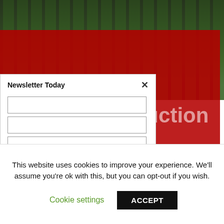[Figure (screenshot): Website screenshot showing a red-themed article page with title 'Planning for Remote Production Setbacks', partially obscured by a newsletter signup modal overlay. Background shows iron fence and foliage. Text visible: 'Planning for Remote Production Setbacks', 'DEC 18, 2018 | BY ANDREW RYBACK', excerpt about Murphy's Law.]
Newsletter Today
Planning for Remote Production Setbacks
DEC 18, 2018 | BY ANDREW RYBACK
We're all familiar with the Murphy dude and his infamous law. What can go wrong, will go wrong.
This website uses cookies to improve your experience. We'll assume you're ok with this, but you can opt-out if you wish.
Cookie settings
ACCEPT